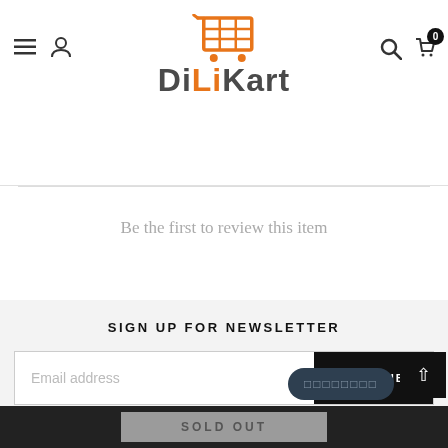DiLiKart logo with navigation icons
Be the first to review this item
SIGN UP FOR NEWSLETTER
Email address
SUBSCRIBE
SOLD OUT